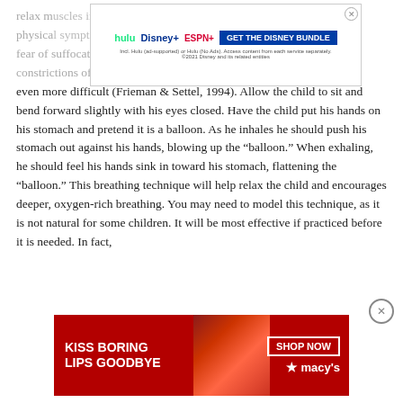[Figure (screenshot): Disney Bundle advertisement banner with Hulu, Disney+, ESPN+ logos and 'GET THE DISNEY BUNDLE' call to action]
relax muscles in the airway and reduces psycho-physical symptoms. The discomfort of asthma incites fear of suffocation. In turn, this anxiety produces further constrictions of the muscles in the airway, making breathing even more difficult (Frieman & Settel, 1994). Allow the child to sit and bend forward slightly with his eyes closed. Have the child put his hands on his stomach and pretend it is a balloon. As he inhales he should push his stomach out against his hands, blowing up the “balloon.” When exhaling, he should feel his hands sink in toward his stomach, flattening the “balloon.” This breathing technique will help relax the child and encourages deeper, oxygen-rich breathing. You may need to model this technique, as it is not natural for some children. It will be most effective if practiced before it is needed. In fact,
[Figure (screenshot): Macy's advertisement: 'KISS BORING LIPS GOODBYE' with woman's lips and 'SHOP NOW' button on red background]